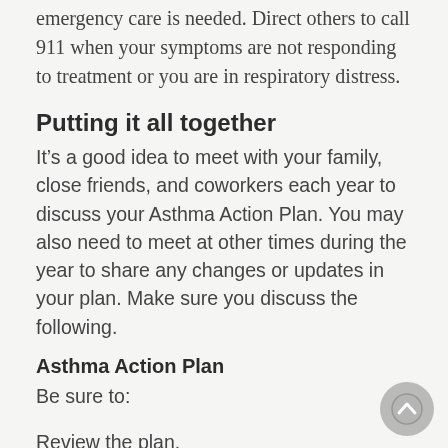emergency care is needed. Direct others to call 911 when your symptoms are not responding to treatment or you are in respiratory distress.
Putting it all together
It’s a good idea to meet with your family, close friends, and coworkers each year to discuss your Asthma Action Plan. You may also need to meet at other times during the year to share any changes or updates in your plan. Make sure you discuss the following.
Asthma Action Plan
Be sure to:
Review the plan.
Make sure everyone knows how to use an inhaler, spacer, and peak flow meter.